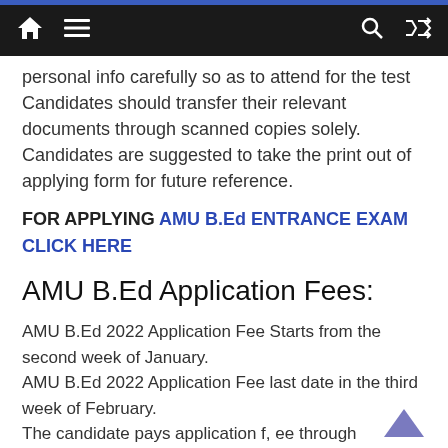Navigation bar with home, menu, search, and shuffle icons
personal info carefully so as to attend for the test Candidates should transfer their relevant documents through scanned copies solely. Candidates are suggested to take the print out of applying form for future reference.
FOR APPLYING AMU B.Ed ENTRANCE EXAM CLICK HERE
AMU B.Ed Application Fees:
AMU B.Ed 2022 Application Fee Starts from the second week of January.
AMU B.Ed 2022 Application Fee last date in the third week of February.
The candidate pays application f, ee through